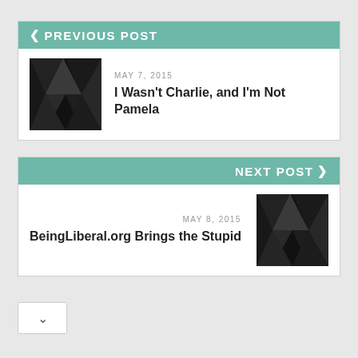< PREVIOUS POST
[Figure (illustration): Dark geometric triangular pattern thumbnail image]
MAY 7, 2015
I Wasn't Charlie, and I'm Not Pamela
NEXT POST >
MAY 8, 2015
BeingLiberal.org Brings the Stupid
[Figure (illustration): Dark geometric triangular pattern thumbnail image]